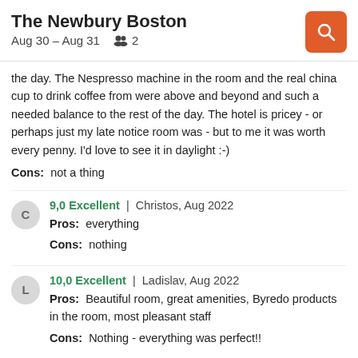The Newbury Boston
Aug 30 – Aug 31   2
the day. The Nespresso machine in the room and the real china cup to drink coffee from were above and beyond and such a needed balance to the rest of the day. The hotel is pricey - or perhaps just my late notice room was - but to me it was worth every penny. I'd love to see it in daylight :-)
Cons: not a thing
9,0 Excellent | Christos, Aug 2022
Pros: everything
Cons: nothing
10,0 Excellent | Ladislav, Aug 2022
Pros: Beautiful room, great amenities, Byredo products in the room, most pleasant staff
Cons: Nothing - everything was perfect!!
9,0 Excellent | Andrea, Jul 2022
Pros: We stayed at the Newbury for 4 nights. The location is absolutely perfect! The building is charming and the build out of the interior...